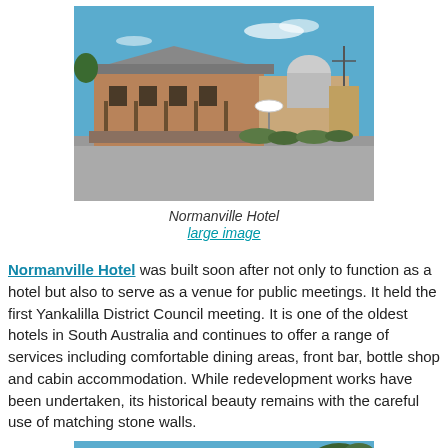[Figure (photo): Photograph of Normanville Hotel, a single-storey historic building with a grey roof, brick and stone walls, outdoor seating area with umbrellas, under a blue sky.]
Normanville Hotel
large image
Normanville Hotel was built soon after not only to function as a hotel but also to serve as a venue for public meetings. It held the first Yankalilla District Council meeting. It is one of the oldest hotels in South Australia and continues to offer a range of services including comfortable dining areas, front bar, bottle shop and cabin accommodation. While redevelopment works have been undertaken, its historical beauty remains with the careful use of matching stone walls.
[Figure (photo): Partial photograph showing the top portion of a building or outdoor scene with blue sky and some tree foliage visible.]